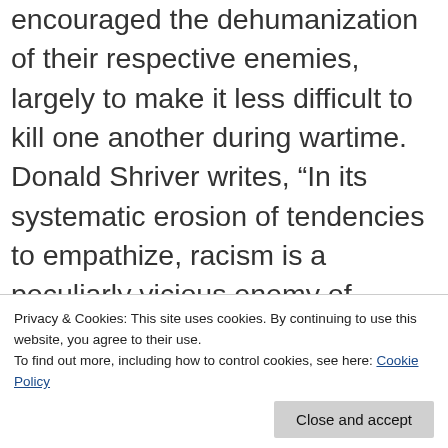encouraged the dehumanization of their respective enemies, largely to make it less difficult to kill one another during wartime. Donald Shriver writes, “In its systematic erosion of tendencies to empathize, racism is a peculiarly vicious enemy of forgiveness in politics or justice in any human relation.” Through this negative example, Shriver directly links empathy with forgiveness and justice. Racism, which refuses to extend
Privacy & Cookies: This site uses cookies. By continuing to use this website, you agree to their use.
To find out more, including how to control cookies, see here: Cookie Policy
bombing Pearl Harbor.